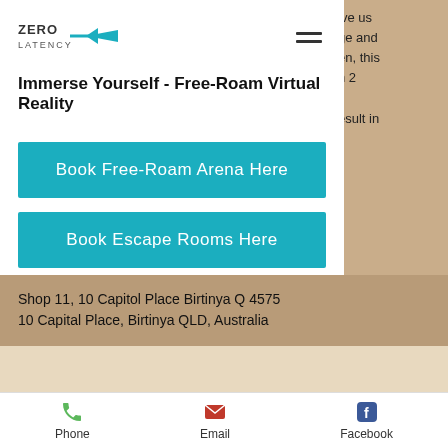[Figure (logo): Zero Latency logo with stylized airplane/arrow icon in teal, wordmark 'ZERO LATENCY' in dark text]
Immerse Yourself - Free-Roam Virtual Reality
Book Free-Roam Arena Here
Book Escape Rooms Here
Shop 11, 10 Capitol Place Birtinya Q 4575
10 Capital Place, Birtinya QLD, Australia
Phone  Email  Facebook